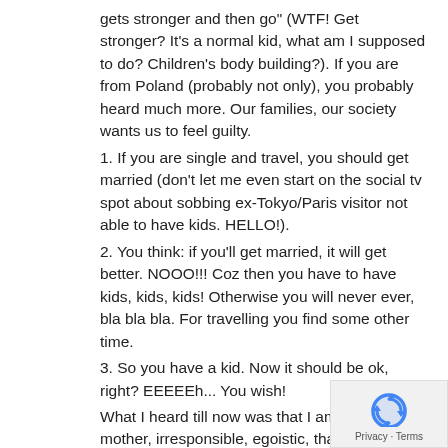gets stronger and then go" (WTF! Get stronger? It's a normal kid, what am I supposed to do? Children's body building?). If you are from Poland (probably not only), you probably heard much more. Our families, our society wants us to feel guilty.
1. If you are single and travel, you should get married (don't let me even start on the social tv spot about sobbing ex-Tokyo/Paris visitor not able to have kids. HELLO!).
2. You think: if you'll get married, it will get better. NOOO!!! Coz then you have to have kids, kids, kids! Otherwise you will never ever, bla bla bla. For travelling you find some other time.
3. So you have a kid. Now it should be ok, right? EEEEEh... You wish!
What I heard till now was that I am a bad mother, irresponsible, egoistic, that I'm torturing my kid and that my daughter does not even remember anything from it. Let me elaborate on that.
U...